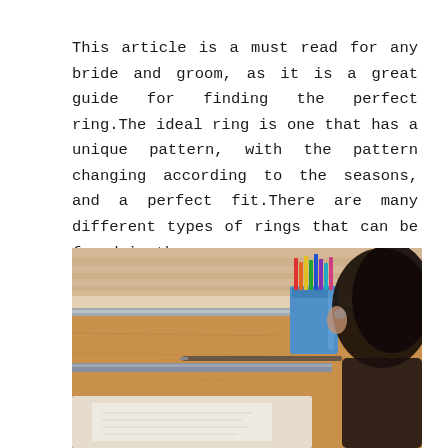This article is a must read for any bride and groom, as it is a great guide for finding the perfect ring.The ideal ring is one that has a unique pattern, with the pattern changing according to the seasons, and a perfect fit.There are many different types of rings that can be found in the ...
[Figure (photo): A blurred photo showing a student or person from behind, sitting at a wooden desk with papers, a ruler, and a blue pencil/pen holder filled with colorful markers or pencils. The background shows a wooden panel wall.]